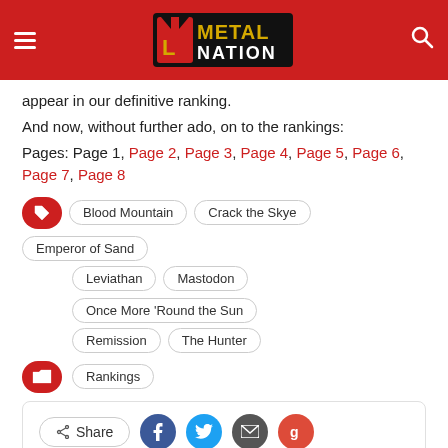Metal Nation
appear in our definitive ranking.
And now, without further ado, on to the rankings:
Pages: Page 1, Page 2, Page 3, Page 4, Page 5, Page 6, Page 7, Page 8
Blood Mountain
Crack the Skye
Emperor of Sand
Leviathan
Mastodon
Once More 'Round the Sun
Remission
The Hunter
Rankings
Related Posts
[Figure (photo): Ozzy Osbourne related post thumbnail]
[Figure (photo): Black related post thumbnail]